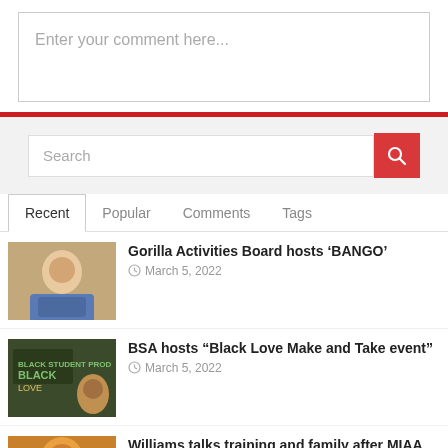Enter your comment here...
[Figure (screenshot): Search bar with red search button]
Recent | Popular | Comments | Tags
Gorilla Activities Board hosts ‘BANGO’
March 5, 2022
BSA hosts “Black Love Make and Take event”
March 5, 2022
Williams talks training and family after MIAA championship win